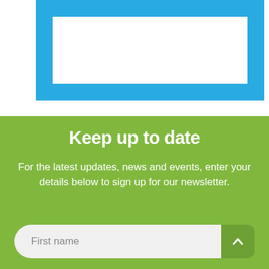[Figure (other): Blue rectangular frame/border with white inner area, partially cropped at top of page]
Keep up to date
For the latest updates, news and events, enter your details below to sign up for our newsletter.
First name